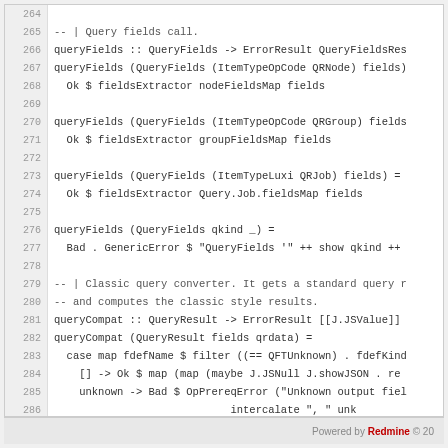[Figure (screenshot): Code viewer showing Haskell source lines 264-286 with line numbers on left and code on right]
Powered by Redmine © 20